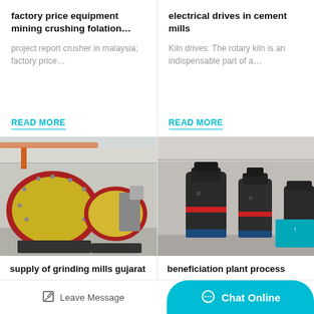factory price equipment mining crushing folation…
project report crusher in malaysia; factory price…
READ MORE
electrical drives in cement mills
Kiln drives: The rotary kiln is an indispensable part of a…
READ MORE
[Figure (photo): Industrial ball mills in a factory setting, large yellow cylindrical grinding mills with red gear rings]
supply of grinding mills gujarat
[Figure (photo): Industrial grinding/beneficiation plant machinery, large dark cylindrical machines in a warehouse]
beneficiation plant process
Leave Message
Chat Online